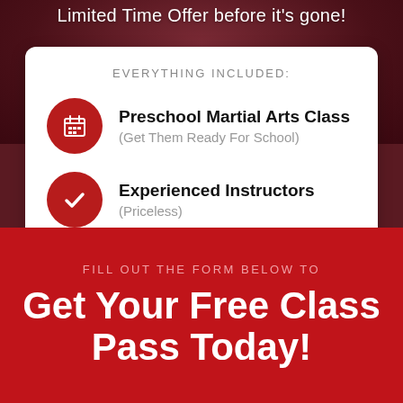Limited Time Offer before it's gone!
EVERYTHING INCLUDED:
Preschool Martial Arts Class (Get Them Ready For School)
Experienced Instructors (Priceless)
FILL OUT THE FORM BELOW TO
Get Your Free Class Pass Today!